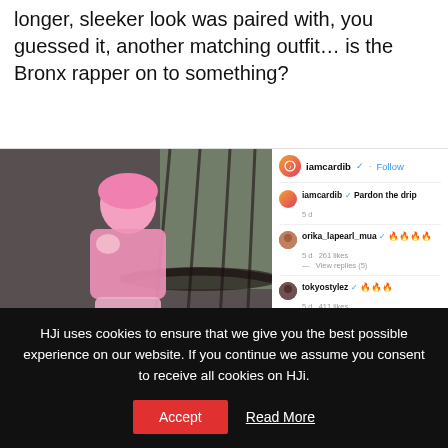longer, sleeker look was paired with, you guessed it, another matching outfit… is the Bronx rapper on to something?
[Figure (screenshot): Instagram embed showing a photo of Cardi B in a pink outfit on a staircase, with sidebar showing comments from iamcardib, orika_lapearl_mua, tokyostylez, mariahlynn boss, and ericapinkett]
HJi uses cookies to ensure that we give you the best possible experience on our website. If you continue we assume you consent to receive all cookies on HJi.
Accept   Read More